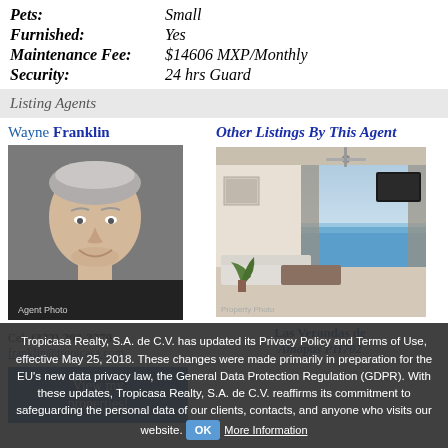Pets: Small
Furnished: Yes
Maintenance Fee: $14606 MXP/Monthly
Security: 24 hrs Guard
Listing Agents
Wayne Franklin
[Figure (photo): Headshot of agent Wayne Franklin, a middle-aged man with short grey hair, smiling, wearing a black shirt.]
Cel: (322) 292-3279
franklin@tropicasa.com
View my properties!
Other Listings By This Agent
[Figure (photo): Interior photo of a modern luxury condo with ocean view, open plan living area, large windows, white furniture.]
Las Verandas de Amapas PH702
Tropicasa Realty, S.A. de C.V. has updated its Privacy Policy and Terms of Use, effective May 25, 2018. These changes were made primarily in preparation for the EU's new data privacy law, the General Data Protection Regulation (GDPR). With these updates, Tropicasa Realty, S.A. de C.V. reaffirms its commitment to safeguarding the personal data of our clients, contacts, and anyone who visits our website.